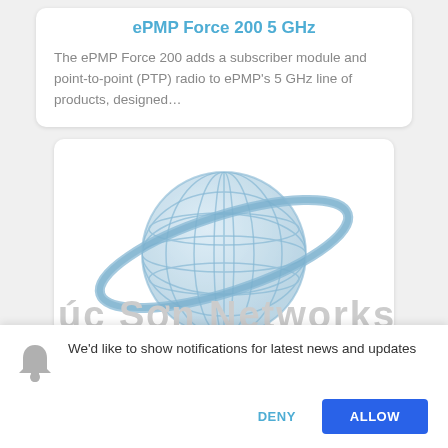ePMP Force 200 5 GHz
The ePMP Force 200 adds a subscriber module and point-to-point (PTP) radio to ePMP’s 5 GHz line of products, designed…
[Figure (illustration): Globe/network icon with orbital ring in blue tones, with watermark text 'Úc Sơn Networks Ac' partially visible at bottom]
We’d like to show notifications for latest news and updates
DENY
ALLOW